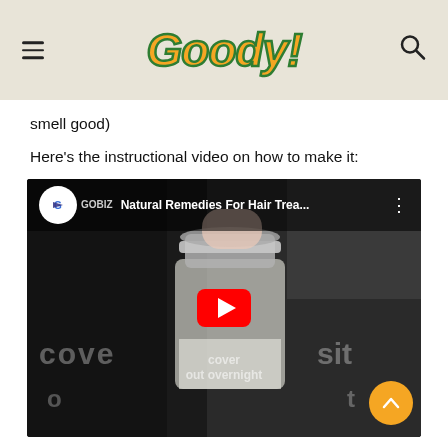Goody!
smell good)
Here's the instructional video on how to make it:
[Figure (screenshot): YouTube video embed thumbnail showing 'Natural Remedies For Hair Trea...' by GOBIZ channel, with a glass jar being held, overlay text 'cover out overnight sit', and a red YouTube play button in the center.]